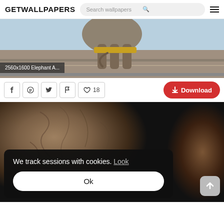GETWALLPAPERS | Search wallpapers
[Figure (photo): Close-up bottom view of an elephant standing on a road, showing its legs and underside against a light blue sky background. Label: 2560x1600 Elephant A...]
2560x1600 Elephant A...
♡ 18  Download
[Figure (photo): Close-up textured view of elephant skin, dark tones with brown and grey textures. A cookie consent popup overlays the bottom: 'We track sessions with cookies. Look' with an 'Ok' button.]
We track sessions with cookies. Look
Ok